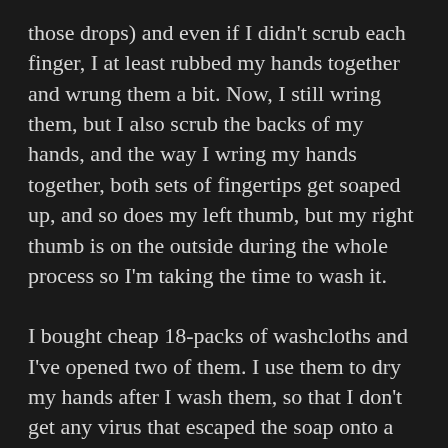those drops) and even if I didn't scrub each finger, I at least rubbed my hands together and wrung them a bit. Now, I still wring them, but I also scrub the backs of my hands, and the way I wring my hands together, both sets of fingertips get soaped up, and so does my left thumb, but my right thumb is on the outside during the whole process so I'm taking the time to wash it.
I bought cheap 18-packs of washcloths and I've opened two of them. I use them to dry my hands after I wash them, so that I don't get any virus that escaped the soap onto a communal towel. I wash the washcloths every other day or so, so I'm washing my hands 18 times every